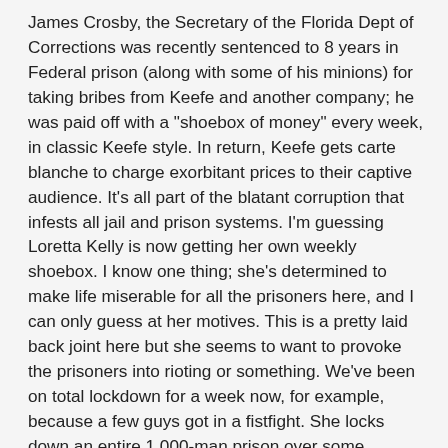James Crosby, the Secretary of the Florida Dept of Corrections was recently sentenced to 8 years in Federal prison (along with some of his minions) for taking bribes from Keefe and another company; he was paid off with a "shoebox of money" every week, in classic Keefe style. In return, Keefe gets carte blanche to charge exorbitant prices to their captive audience. It's all part of the blatant corruption that infests all jail and prison systems. I'm guessing Loretta Kelly is now getting her own weekly shoebox. I know one thing; she's determined to make life miserable for all the prisoners here, and I can only guess at her motives. This is a pretty laid back joint here but she seems to want to provoke the prisoners into rioting or something. We've been on total lockdown for a week now, for example, because a few guys got in a fistfight. She locks down an entire 1,000-man prison over some fistfights! Hell, at Florida State Prison they don't ever lock down the joint, even when there's a double murder; an hour later, the prison is back to normal. But here, lockdown is Loretta's favorite tool. Every time we turn around she's got us locked down for 2, 3, 4 days, for nothing. (We're already on a skeleton staff because she fired so many guards when she got here, and so many have since quit over